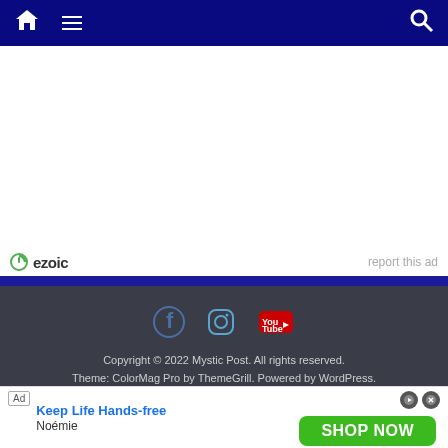Navigation bar with home icon, menu icon, and search icon
[Figure (other): Empty white ad content area with Ezoic branding at bottom]
ezoic   report this ad
Copyright © 2022 Mystic Post. All rights reserved. Theme: ColorMag Pro by ThemeGrill. Powered by WordPress.
[Figure (infographic): Advertisement banner: Ad | Keep Life Hands-free | Noémie | SHOP NOW button]